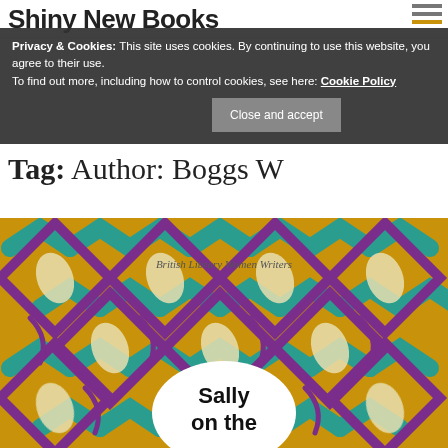Shiny New Books – What to Read Next and Why
Privacy & Cookies: This site uses cookies. By continuing to use this website, you agree to their use. To find out more, including how to control cookies, see here: Cookie Policy
Tag: Author: Boggs W
[Figure (photo): Book cover for 'Sally on the...' from the British Library Women Writers series, featuring a decorative pattern of teal, purple, and cream leaf/chevron shapes on a yellow-gold background, with the book title in a white blob shape at the bottom center.]